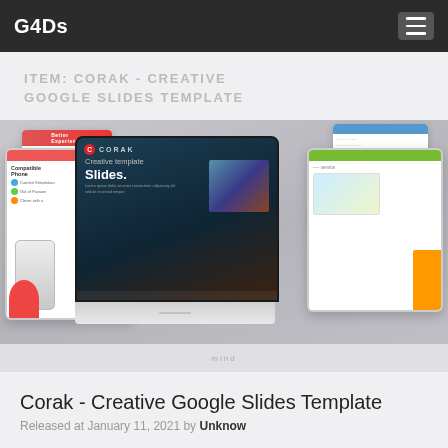G4Ds
ITEM: CORAK - CREATIVE GOOGLE SLIDES TEMPLATE
[Figure (screenshot): Screenshot showing the Corak Creative Google Slides Template displayed on multiple monitor mockups. A central dark monitor shows the Corak template title slide with 'Creative template Slides.' text and a landscape photo. Two side monitors show additional slide previews with colorful designs. Background cards show sample slides.]
Corak - Creative Google Slides Template
Released at January 11, 2021 by Unknow